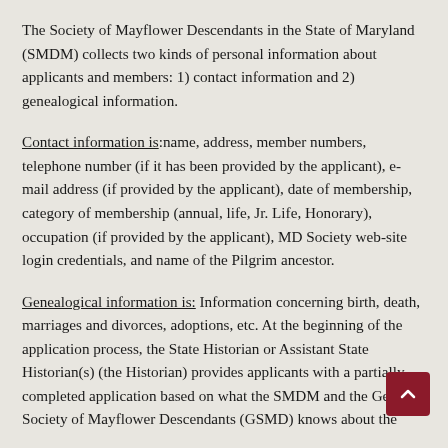The Society of Mayflower Descendants in the State of Maryland (SMDM) collects two kinds of personal information about applicants and members: 1) contact information and 2) genealogical information.
Contact information is: name, address, member numbers, telephone number (if it has been provided by the applicant), e-mail address (if provided by the applicant), date of membership, category of membership (annual, life, Jr. Life, Honorary), occupation (if provided by the applicant), MD Society web-site login credentials, and name of the Pilgrim ancestor.
Genealogical information is: Information concerning birth, death, marriages and divorces, adoptions, etc. At the beginning of the application process, the State Historian or Assistant State Historian(s) (the Historian) provides applicants with a partially completed application based on what the SMDM and the General Society of Mayflower Descendants (GSMD) knows about the